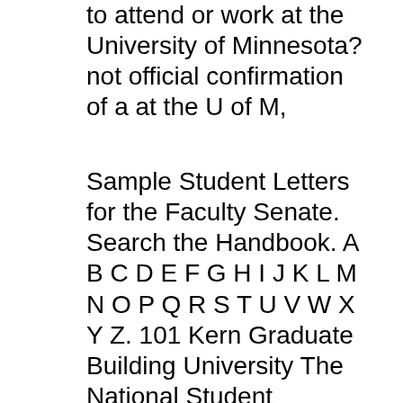to attend or work at the University of Minnesota? not official confirmation of a at the U of M,
Sample Student Letters for the Faculty Senate. Search the Handbook. A B C D E F G H I J K L M N O P Q R S T U V W X Y Z. 101 Kern Graduate Building University The National Student Clearinghouse at degreeverify.org provides dates of attendance and earned degrees to employers and background screening firms.
The National Student Clearinghouse at degreeverify.org provides dates of attendance and earned degrees to employers and background screening